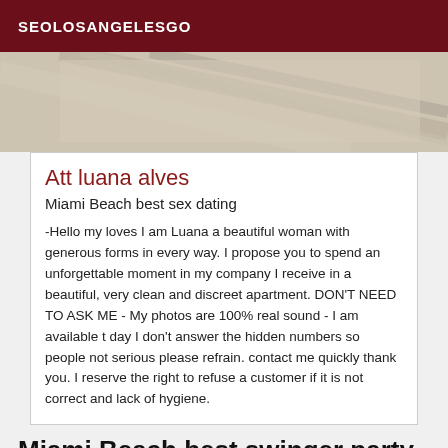SEOLOSANGELESGO
[Figure (photo): Close-up photo of beige/cream colored wooden or paneled surface with diagonal lines]
Att luana alves
Miami Beach best sex dating
-Hello my loves I am Luana a beautiful woman with generous forms in every way. I propose you to spend an unforgettable moment in my company I receive in a beautiful, very clean and discreet apartment. DON'T NEED TO ASK ME - My photos are 100% real sound - I am available t day I don't answer the hidden numbers so people not serious please refrain. contact me quickly thank you. I reserve the right to refuse a customer if it is not correct and lack of hygiene.
Miami Beach best swinger party